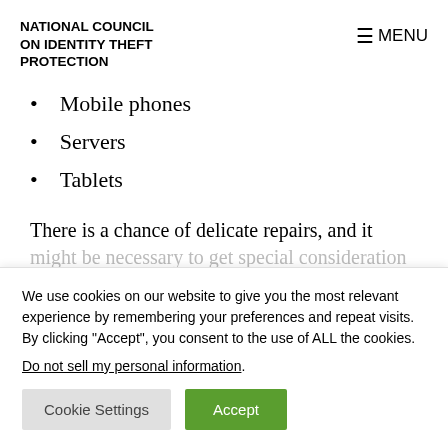NATIONAL COUNCIL ON IDENTITY THEFT PROTECTION
Mobile phones
Servers
Tablets
There is a chance of delicate repairs, and it might be necessary to get special consideration
We use cookies on our website to give you the most relevant experience by remembering your preferences and repeat visits. By clicking “Accept”, you consent to the use of ALL the cookies. Do not sell my personal information.